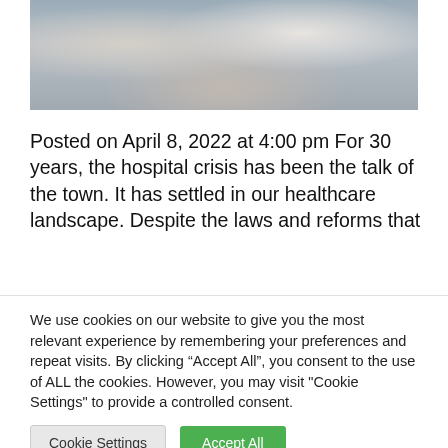[Figure (photo): Healthcare workers in white coats gathered around a table with a computer monitor, appearing to have a meeting or discussion in a clinical or office setting.]
Posted on April 8, 2022 at 4:00 pm For 30 years, the hospital crisis has been the talk of the town. It has settled in our healthcare landscape. Despite the laws and reforms that
We use cookies on our website to give you the most relevant experience by remembering your preferences and repeat visits. By clicking "Accept All", you consent to the use of ALL the cookies. However, you may visit "Cookie Settings" to provide a controlled consent.